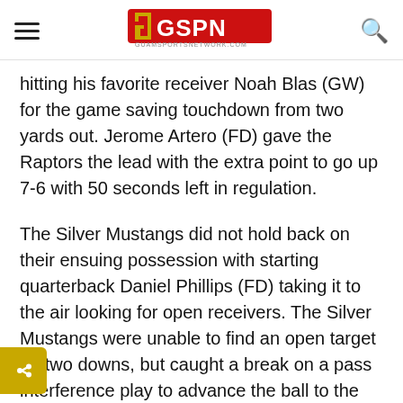GSPN - Guam Sports Network
hitting his favorite receiver Noah Blas (GW) for the game saving touchdown from two yards out. Jerome Artero (FD) gave the Raptors the lead with the extra point to go up 7-6 with 50 seconds left in regulation.
The Silver Mustangs did not hold back on their ensuing possession with starting quarterback Daniel Phillips (FD) taking it to the air looking for open receivers. The Silver Mustangs were unable to find an open target on two downs, but caught a break on a pass interference play to advance the ball to the Raptor 35-yard line. With 15 seconds left, Phillips went for the long ball finding Makoa mba (GH) for the comeback touchdown to win the